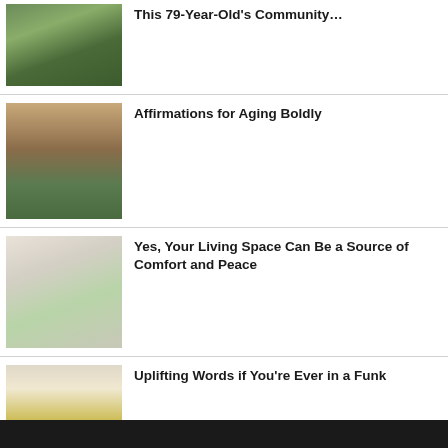[Figure (photo): Garden/plants photo thumbnail]
This 79-Year-Old's Community…
[Figure (photo): Older man sitting outdoors reading]
Affirmations for Aging Boldly
[Figure (photo): Cozy living room with plants and pillows]
Yes, Your Living Space Can Be a Source of Comfort and Peace
[Figure (photo): Woman with arms raised in a field of sunflowers]
Uplifting Words if You're Ever in a Funk